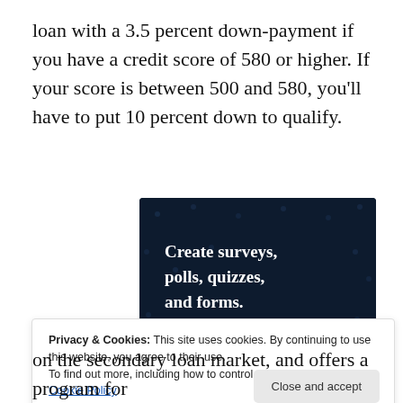loan with a 3.5 percent down-payment if you have a credit score of 580 or higher. If your score is between 500 and 580, you'll have to put 10 percent down to qualify.
[Figure (screenshot): Advertisement banner with dark navy background showing text 'Create surveys, polls, quizzes, and forms.' with a pink 'Start now' button and a Crowd logo in the bottom right corner.]
Privacy & Cookies: This site uses cookies. By continuing to use this website, you agree to their use.
To find out more, including how to control cookies, see here: Cookie Policy
on the secondary loan market, and offers a program for